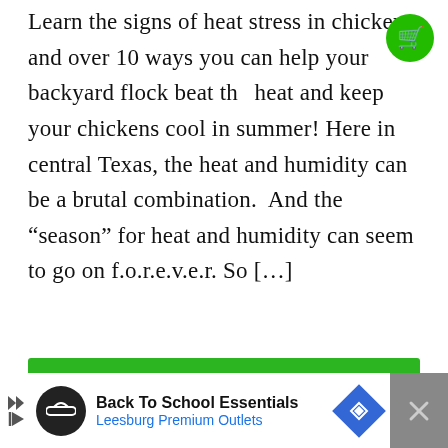Learn the signs of heat stress in chickens and over 10 ways you can help your backyard flock beat the heat and keep your chickens cool in summer! Here in central Texas, the heat and humidity can be a brutal combination. And the “season” for heat and humidity can seem to go on f.o.r.e.v.e.r. So […]
[Figure (other): Green cart/shopping icon button in top right corner]
CONTINUE READING...
[Figure (other): Advertisement bar at bottom: Back To School Essentials - Leesburg Premium Outlets]